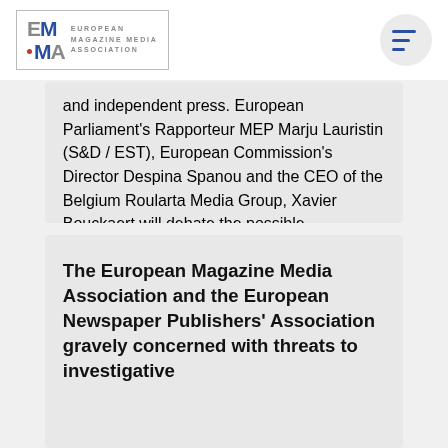[Figure (logo): European Magazine Media Association (EMMA) logo with stylized EM and MA letters and full name text]
and independent press. European Parliament's Rapporteur MEP Marju Lauristin (S&D / EST), European Commission's Director Despina Spanou and the CEO of the Belgium Roularta Media Group, Xavier Bouckaert will debate the possible implications of a ne…
> Read more
The European Magazine Media Association and the European Newspaper Publishers' Association gravely concerned with threats to investigative